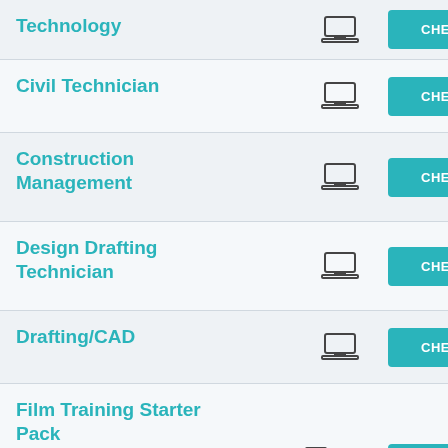| Program | Format | Action |
| --- | --- | --- |
| Technology | laptop | CHECK AVAILABILITY |
| Civil Technician | laptop | CHECK AVAILABILITY |
| Construction Management | laptop | CHECK AVAILABILITY |
| Design Drafting Technician | laptop | CHECK AVAILABILITY |
| Drafting/CAD | laptop | CHECK AVAILABILITY |
| Film Training Starter Pack
Designed for those with career aspirations in administration, trades or technical roles. | document + laptop | LEARN MORE |